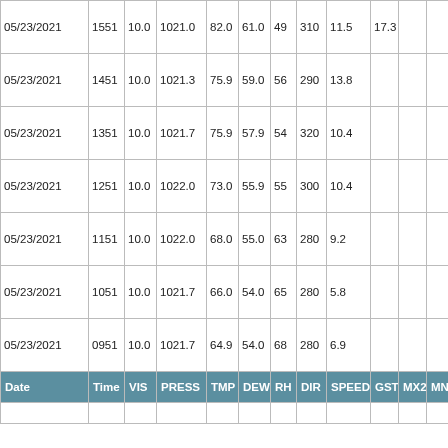| Date | Time | VIS | PRESS | TMP | DEW | RH | DIR | SPEED | GST | MX24 | MN |
| --- | --- | --- | --- | --- | --- | --- | --- | --- | --- | --- | --- |
| 05/23/2021 | 1551 | 10.0 | 1021.0 | 82.0 | 61.0 | 49 | 310 | 11.5 | 17.3 |  |  |
| 05/23/2021 | 1451 | 10.0 | 1021.3 | 75.9 | 59.0 | 56 | 290 | 13.8 |  |  |  |
| 05/23/2021 | 1351 | 10.0 | 1021.7 | 75.9 | 57.9 | 54 | 320 | 10.4 |  |  |  |
| 05/23/2021 | 1251 | 10.0 | 1022.0 | 73.0 | 55.9 | 55 | 300 | 10.4 |  |  |  |
| 05/23/2021 | 1151 | 10.0 | 1022.0 | 68.0 | 55.0 | 63 | 280 | 9.2 |  |  |  |
| 05/23/2021 | 1051 | 10.0 | 1021.7 | 66.0 | 54.0 | 65 | 280 | 5.8 |  |  |  |
| 05/23/2021 | 0951 | 10.0 | 1021.7 | 64.9 | 54.0 | 68 | 280 | 6.9 |  |  |  |
|  |  |  |  |  |  |  |  |  |  |  |  |